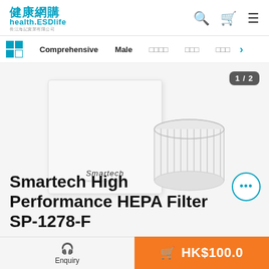健康網購 health.ESDlife 長江海記實業有限公司
Comprehensive  Male  □□□□  □□□  □□□
[Figure (photo): Smartech High Performance HEPA Filter product image showing white box packaging and cylindrical HEPA filter component, with image counter badge '1 / 2' and a circular more-options button]
Smartech High Performance HEPA Filter SP-1278-F
Enquiry  🛒 HK$100.0